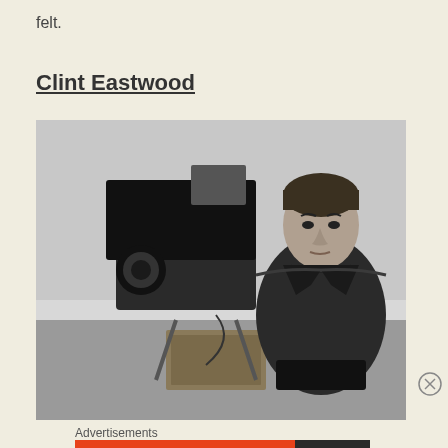felt.
Clint Eastwood
[Figure (photo): Black and white photograph of Clint Eastwood sitting behind a large film camera on a movie set, looking directly at the camera with a serious expression. He is wearing a jacket. A large professional film camera with lens shade is prominent in the foreground-left.]
Advertisements
[Figure (screenshot): DuckDuckGo advertisement banner. Left orange section reads 'Search, browse, and email with more privacy. All in One Free App'. Right dark section shows DuckDuckGo duck logo and brand name.]